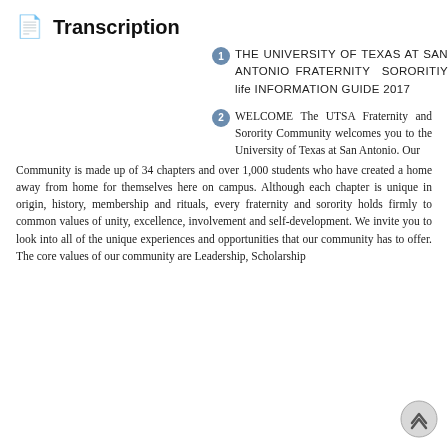📄 Transcription
THE UNIVERSITY OF TEXAS AT SAN ANTONIO FRATERNITY SORORITIY life INFORMATION GUIDE 2017
WELCOME The UTSA Fraternity and Sorority Community welcomes you to the University of Texas at San Antonio. Our Community is made up of 34 chapters and over 1,000 students who have created a home away from home for themselves here on campus. Although each chapter is unique in origin, history, membership and rituals, every fraternity and sorority holds firmly to common values of unity, excellence, involvement and self-development. We invite you to look into all of the unique experiences and opportunities that our community has to offer. The core values of our community are Leadership, Scholarship